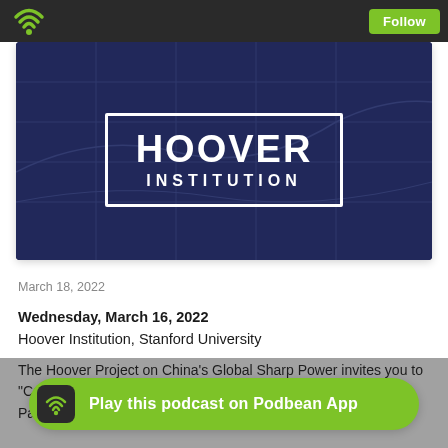Follow
[Figure (logo): Hoover Institution logo: white text 'HOOVER INSTITUTION' in a white-bordered box on a dark navy background with faint aerial map imagery]
March 18, 2022
Wednesday, March 16, 2022
Hoover Institution, Stanford University
The Hoover Project on China's Global Sharp Power invites you to "Cadre Country: How China became the Chinese Communist Party" on ... 0 pm PT.
Play this podcast on Podbean App